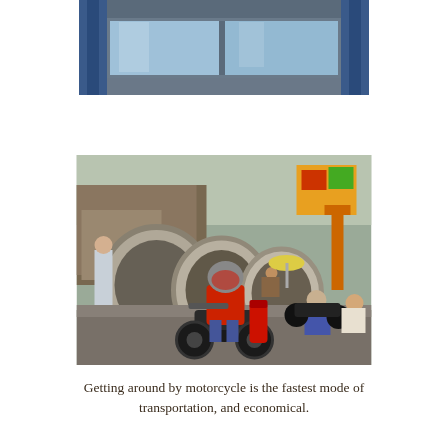[Figure (photo): Partial view through a window with blue curtains, showing an exterior building with metal frames and glass panels.]
[Figure (photo): Street scene showing motorcyclists on a busy road. In the foreground, a rider wearing a red jacket and helmet carries a red gas cylinder on their motorcycle. Large concrete pipe rings are visible on the left side. Other motorcyclists and vehicles are visible in the background.]
Getting around by motorcycle is the fastest mode of transportation, and economical.